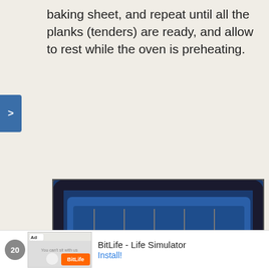baking sheet, and repeat until all the planks (tenders) are ready, and allow to rest while the oven is preheating.
[Figure (photo): Photo of an open oven with text overlay reading '450f (230c) 15 minutes', with a hand placing food inside. An embedded video thumbnail shows 'Luby's Fried Fish And Tartar Sauce' with a play button and a close (X) button.]
Ad — BitLife - Life Simulator — Install!